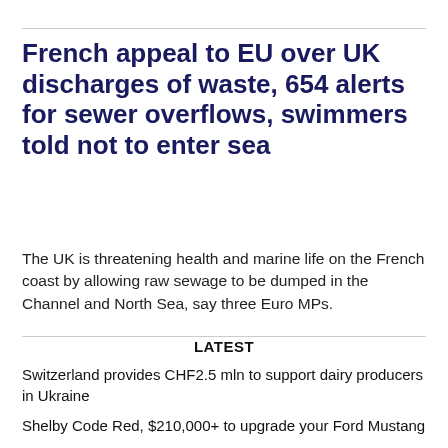French appeal to EU over UK discharges of waste, 654 alerts for sewer overflows, swimmers told not to enter sea
The UK is threatening health and marine life on the French coast by allowing raw sewage to be dumped in the Channel and North Sea, say three Euro MPs.
LATEST
Switzerland provides CHF2.5 mln to support dairy producers in Ukraine
Shelby Code Red, $210,000+ to upgrade your Ford Mustang
Scientists found Earth-like planet that might be 'ocean planet'